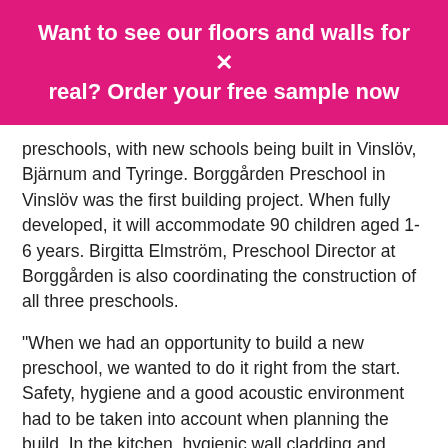Want to see our floors and walls for real? Order your free sample now
preschools, with new schools being built in Vinslöv, Bjärnum and Tyringe. Borggården Preschool in Vinslöv was the first building project. When fully developed, it will accommodate 90 children aged 1-6 years. Birgitta Elmström, Preschool Director at Borggården is also coordinating the construction of all three preschools.
“When we had an opportunity to build a new preschool, we wanted to do it right from the start. Safety, hygiene and a good acoustic environment had to be taken into account when planning the build. In the kitchen, hygienic wall cladding and sound-absorbing safety flooring were key requirements. We approved the architect's suggestion for Altro Stronghold 30 on the kitchen floor, Altro Whiterock on the kitchen walls and Altro Aquarius in the toilets and baby changing facilities,” says Elmström.
Altro Stronghold 30 safety flooring achieves Altro's highest